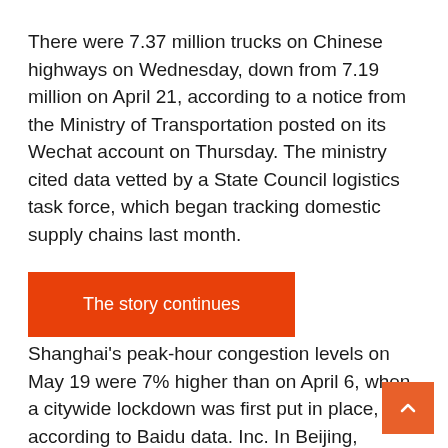There were 7.37 million trucks on Chinese highways on Wednesday, down from 7.19 million on April 21, according to a notice from the Ministry of Transportation posted on its Wechat account on Thursday. The ministry cited data vetted by a State Council logistics task force, which began tracking domestic supply chains last month.
[Figure (other): Orange rectangular button labeled 'The story continues']
Shanghai's peak-hour congestion levels on May 19 were 7% higher than on April 6, when a citywide lockdown was first put in place, according to Baidu data. Inc. In Beijing,